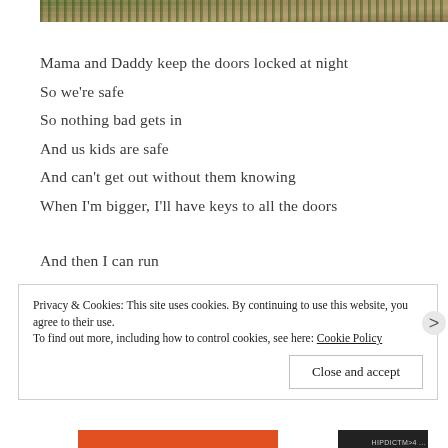[Figure (photo): Partial photo strip at top showing foliage, leaves and natural outdoor scene]
Mama and Daddy keep the doors locked at night
So we're safe
So nothing bad gets in
And us kids are safe
And can't get out without them knowing
When I'm bigger, I'll have keys to all the doors

And then I can run
Privacy & Cookies: This site uses cookies. By continuing to use this website, you agree to their use.
To find out more, including how to control cookies, see here: Cookie Policy
Close and accept